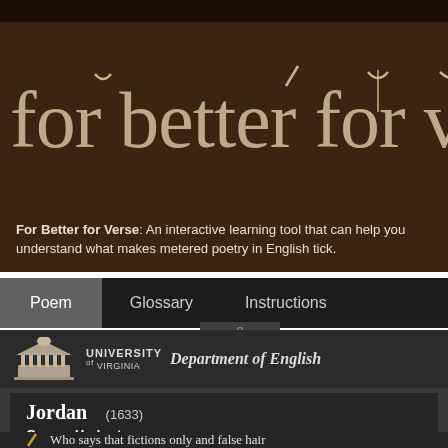[Figure (screenshot): Website header banner with dark brown background showing 'for better for vers' in large serif lettering with scansion marks (breves and accent marks) above letters]
For Better for Verse: An interactive learning tool that can help you understand what makes metered poetry in English tick.
Poem | Glossary | Instructions
[Figure (logo): University of Virginia logo with columned building icon and text 'UNIVERSITY of VIRGINIA Department of English']
Jordan (1633)
George Herbert
Who says that fictions only and false hair